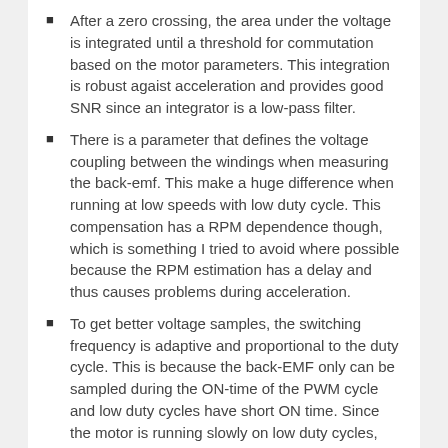After a zero crossing, the area under the voltage is integrated until a threshold for commutation based on the motor parameters. This integration is robust agaist acceleration and provides good SNR since an integrator is a low-pass filter.
There is a parameter that defines the voltage coupling between the windings when measuring the back-emf. This make a huge difference when running at low speeds with low duty cycle. This compensation has a RPM dependence though, which is something I tried to avoid where possible because the RPM estimation has a delay and thus causes problems during acceleration.
To get better voltage samples, the switching frequency is adaptive and proportional to the duty cycle. This is because the back-EMF only can be sampled during the ON-time of the PWM cycle and low duty cycles have short ON time. Since the motor is running slowly on low duty cycles, sampling and switching does not have to be as fast to keep up with the motor which makes this less of a problem.